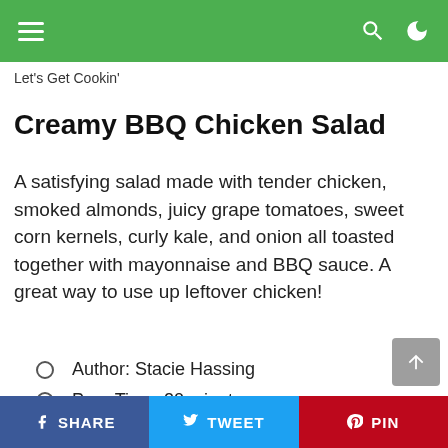Let's Get Cookin'
Creamy BBQ Chicken Salad
A satisfying salad made with tender chicken, smoked almonds, juicy grape tomatoes, sweet corn kernels, curly kale, and onion all toasted together with mayonnaise and BBQ sauce. A great way to use up leftover chicken!
Author: Stacie Hassing
Prep Time: 20 minutes
Total Time: 20 minutes
SHARE | TWEET | PIN